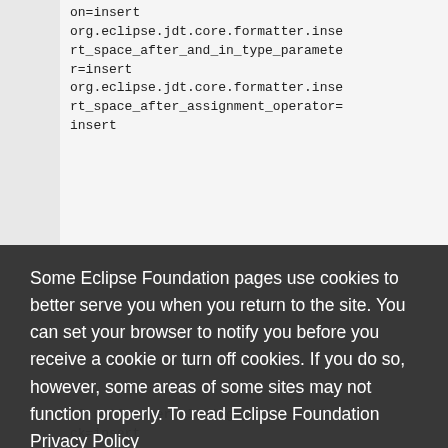on=insert
org.eclipse.jdt.core.formatter.insert_space_after_and_in_type_parameter=insert
org.eclipse.jdt.core.formatter.insert_space_after_assignment_operator=insert
Some Eclipse Foundation pages use cookies to better serve you when you return to the site. You can set your browser to notify you before you receive a cookie or turn off cookies. If you do so, however, some areas of some sites may not function properly. To read Eclipse Foundation Privacy Policy click here.
Decline
Allow cookies
t2_put2_after_closing_paren_in_bl
ck=insert